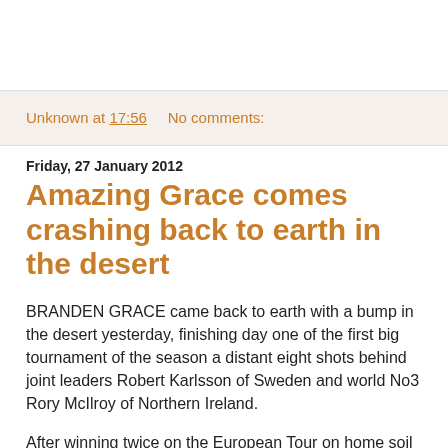Unknown at 17:56    No comments:
Friday, 27 January 2012
Amazing Grace comes crashing back to earth in the desert
BRANDEN GRACE came back to earth with a bump in the desert yesterday, finishing day one of the first big tournament of the season a distant eight shots behind joint leaders Robert Karlsson of Sweden and world No3 Rory McIlroy of Northern Ireland.
After winning twice on the European Tour on home soil in South Africa, the 23-year-old sensation could only manage a 75 in the first round of the Abu Dhabi champions.